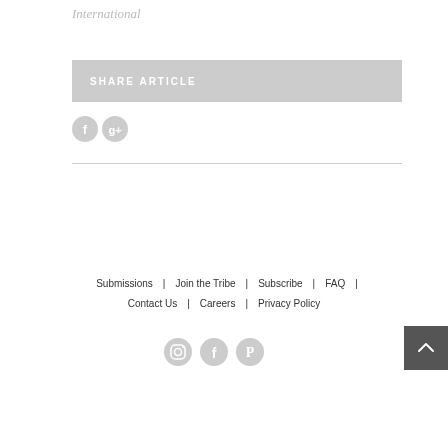International
SHARE ARTICLE
[Figure (illustration): Two social share icon circles: Facebook (F) and Google+ (G+) in grey]
Submissions | Join the Tribe | Subscribe | FAQ | Contact Us | Careers | Privacy Policy
[Figure (illustration): Three social icons in grey circles: Instagram, Facebook, Pinterest]
[Figure (illustration): Back to top button: dark grey square with upward chevron arrow]